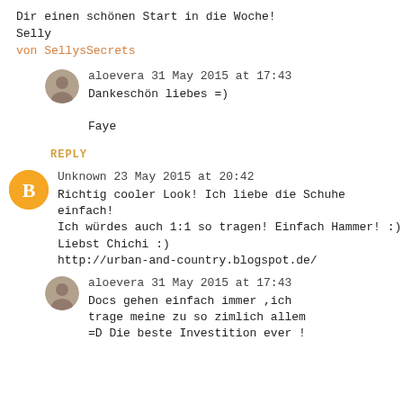Dir einen schönen Start in die Woche!
Selly
von SellysSecrets
aloevera 31 May 2015 at 17:43
Dankeschön liebes =)

Faye
REPLY
Unknown 23 May 2015 at 20:42
Richtig cooler Look! Ich liebe die Schuhe einfach!
Ich würdes auch 1:1 so tragen! Einfach Hammer! :)
Liebst Chichi :)
http://urban-and-country.blogspot.de/
aloevera 31 May 2015 at 17:43
Docs gehen einfach immer ,ich trage meine zu so zimlich allem =D Die beste Investition ever !